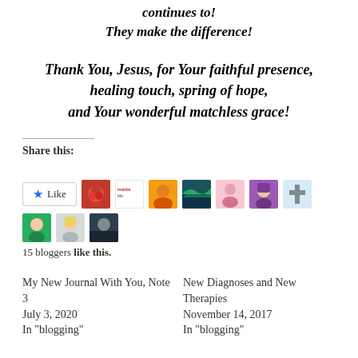continues to!
They make the difference!
Thank You, Jesus, for Your faithful presence, healing touch, spring of hope, and Your wonderful matchless grace!
Share this:
[Figure (other): Like button with star icon and a row of blogger avatar thumbnails (15 bloggers like this)]
15 bloggers like this.
My New Journal With You, Note 3
July 3, 2020
In "blogging"
New Diagnoses and New Therapies
November 14, 2017
In "blogging"